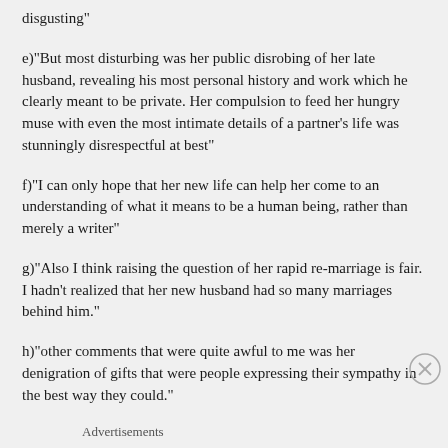disgusting"
e)"But most disturbing was her public disrobing of her late husband, revealing his most personal history and work which he clearly meant to be private. Her compulsion to feed her hungry muse with even the most intimate details of a partner's life was stunningly disrespectful at best"
f)"I can only hope that her new life can help her come to an understanding of what it means to be a human being, rather than merely a writer"
g)"Also I think raising the question of her rapid re-marriage is fair. I hadn't realized that her new husband had so many marriages behind him."
h)"other comments that were quite awful to me was her denigration of gifts that were people expressing their sympathy in the best way they could."
Advertisements